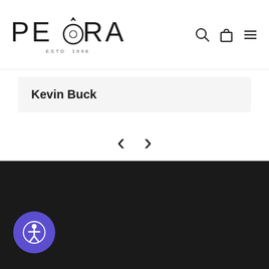PEORA ESTD 1998
Kevin Buck
[Figure (other): Navigation previous and next arrows (< >)]
[Figure (other): Accessibility button with person/wheelchair icon on purple circular background]